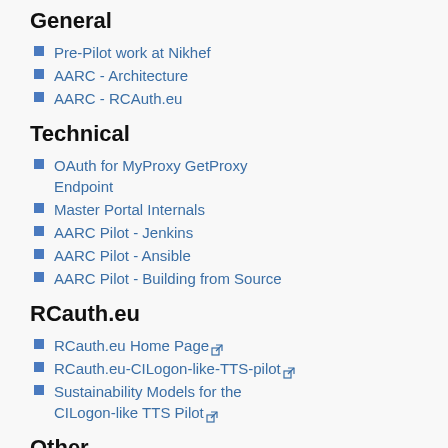General
Pre-Pilot work at Nikhef
AARC - Architecture
AARC - RCAuth.eu
Technical
OAuth for MyProxy GetProxy Endpoint
Master Portal Internals
AARC Pilot - Jenkins
AARC Pilot - Ansible
AARC Pilot - Building from Source
RCauth.eu
RCauth.eu Home Page
RCauth.eu-CILogon-like-TTS-pilot
Sustainability Models for the CILogon-like TTS Pilot
Other
PUSP from MyProxy
Source Code